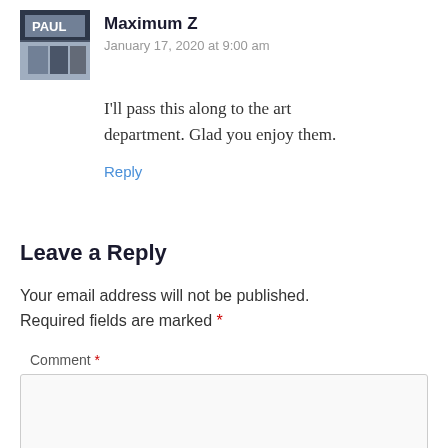Maximum Z
January 17, 2020 at 9:00 am
I'll pass this along to the art department. Glad you enjoy them.
Reply
Leave a Reply
Your email address will not be published. Required fields are marked *
Comment *